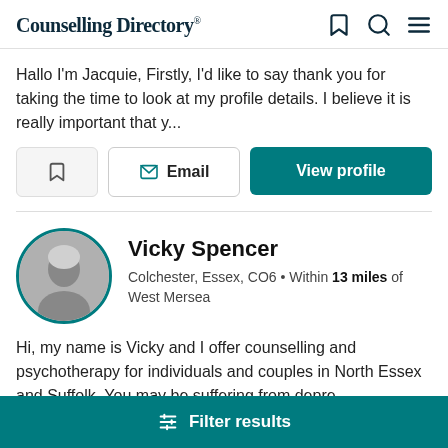Counselling Directory
Hallo I'm Jacquie, Firstly, I'd like to say thank you for taking the time to look at my profile details. I believe it is really important that y...
Email | View profile
Vicky Spencer
Colchester, Essex, CO6 • Within 13 miles of West Mersea
Hi, my name is Vicky and I offer counselling and psychotherapy for individuals and couples in North Essex and Suffolk. You may be suffering from depre...
Filter results